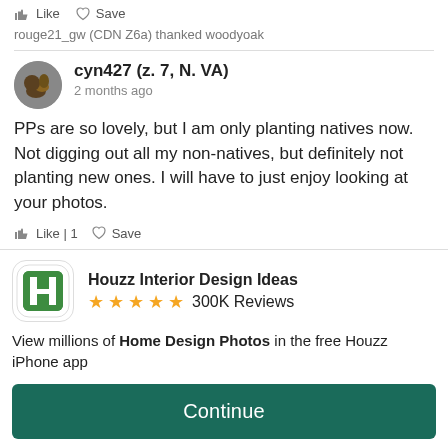Like   Save
rouge21_gw (CDN Z6a) thanked woodyoak
cyn427 (z. 7, N. VA)
2 months ago
PPs are so lovely, but I am only planting natives now. Not digging out all my non-natives, but definitely not planting new ones. I will have to just enjoy looking at your photos.
Like | 1   Save
[Figure (logo): Houzz app icon with green H logo, 5 gold stars, 300K Reviews, app name Houzz Interior Design Ideas]
View millions of Home Design Photos in the free Houzz iPhone app
Continue
Go to Mobile Site